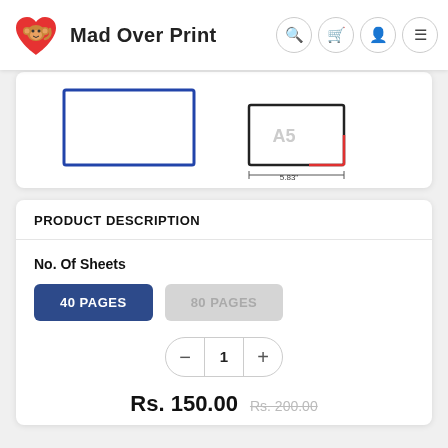Mad Over Print
[Figure (illustration): Product image showing two notebook/pad size diagrams: a plain blue-bordered rectangle on the left, and a smaller rectangle with a red corner indicator labeled 5.83" on the right, with 'A5' watermark text]
PRODUCT DESCRIPTION
No. Of Sheets
40 PAGES   80 PAGES
1
Rs. 150.00   Rs. 200.00